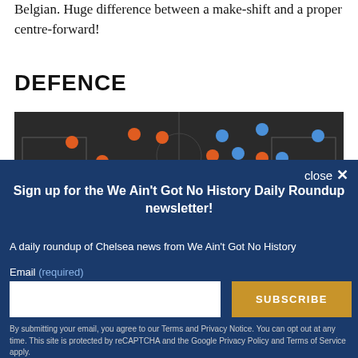Belgian. Huge difference between a make-shift and a proper centre-forward!
DEFENCE
[Figure (other): Football/soccer tactical scatter plot showing orange and blue dots (player positions) on a dark pitch diagram split into two halves.]
close ✕
Sign up for the We Ain't Got No History Daily Roundup newsletter!
A daily roundup of Chelsea news from We Ain't Got No History
Email (required)
SUBSCRIBE
By submitting your email, you agree to our Terms and Privacy Notice. You can opt out at any time. This site is protected by reCAPTCHA and the Google Privacy Policy and Terms of Service apply.